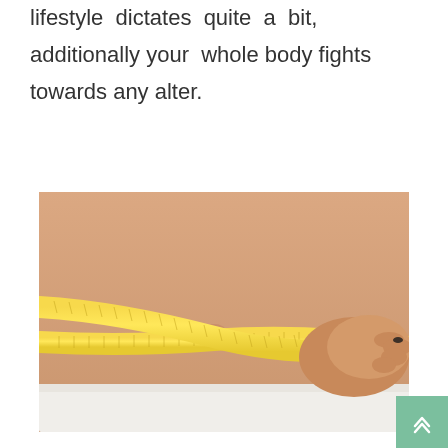lifestyle dictates quite a bit, additionally your whole body fights towards any alter.
[Figure (photo): A person measuring their waist with a yellow measuring tape crossed over the midsection, holding the tape ends with one hand.]
In order to lose fat, you need to have a plan. You need to establish some desired goals and pursue them. And you must be affected person. There